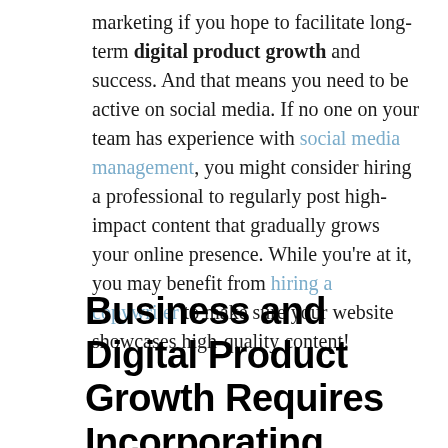marketing if you hope to facilitate long-term digital product growth and success. And that means you need to be active on social media. If no one on your team has experience with social media management, you might consider hiring a professional to regularly post high-impact content that gradually grows your online presence. While you're at it, you may benefit from hiring a copywriter to make sure your website showcases high-quality content!
Business and Digital Product Growth Requires Incorporating Technology